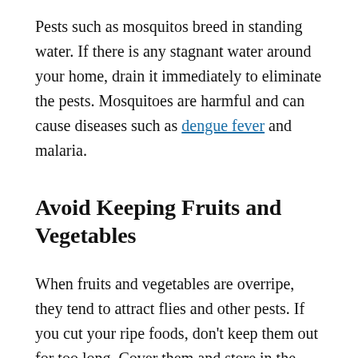Pests such as mosquitos breed in standing water. If there is any stagnant water around your home, drain it immediately to eliminate the pests. Mosquitoes are harmful and can cause diseases such as dengue fever and malaria.
Avoid Keeping Fruits and Vegetables
When fruits and vegetables are overripe, they tend to attract flies and other pests. If you cut your ripe foods, don't keep them out for too long. Cover them and store in the fridge or consume them while still fresh. Although fruit